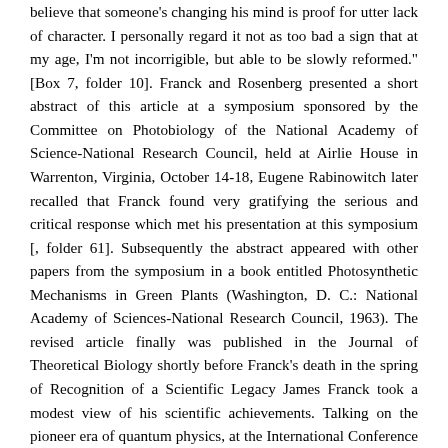believe that someone's changing his mind is proof for utter lack of character. I personally regard it not as too bad a sign that at my age, I'm not incorrigible, but able to be slowly reformed." [Box 7, folder 10]. Franck and Rosenberg presented a short abstract of this article at a symposium sponsored by the Committee on Photobiology of the National Academy of Science-National Research Council, held at Airlie House in Warrenton, Virginia, October 14-18, Eugene Rabinowitch later recalled that Franck found very gratifying the serious and critical response which met his presentation at this symposium [, folder 61]. Subsequently the abstract appeared with other papers from the symposium in a book entitled Photosynthetic Mechanisms in Green Plants (Washington, D. C.: National Academy of Sciences-National Research Council, 1963). The revised article finally was published in the Journal of Theoretical Biology shortly before Franck's death in the spring of Recognition of a Scientific Legacy James Franck took a modest view of his scientific achievements. Talking on the pioneer era of quantum physics, at the International Conference on Luminescence, New York University, October 1961, he praised Max Planck, Albert Einstein, Niels Bohr, and Walther Nernst for opening the "new path."